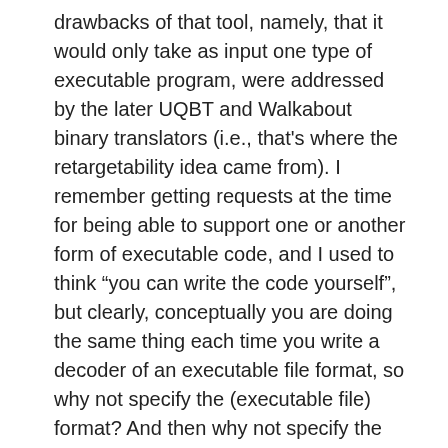drawbacks of that tool, namely, that it would only take as input one type of executable program, were addressed by the later UQBT and Walkabout binary translators (i.e., that's where the retargetability idea came from). I remember getting requests at the time for being able to support one or another form of executable code, and I used to think “you can write the code yourself”, but clearly, conceptually you are doing the same thing each time you write a decoder of an executable file format, so why not specify the (executable file) format? And then why not specify the instructions that the machine supports and decode them?